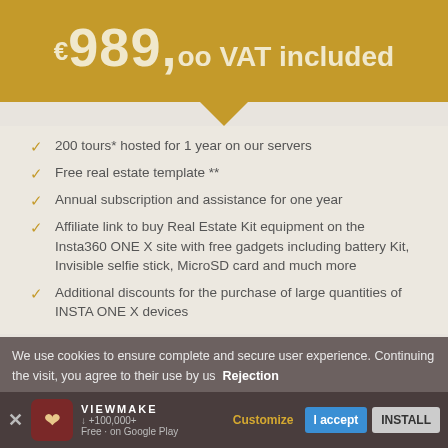€989,00 VAT included
200 tours* hosted for 1 year on our servers
Free real estate template **
Annual subscription and assistance for one year
Affiliate link to buy Real Estate Kit equipment on the Insta360 ONE X site with free gadgets including battery Kit, Invisible selfie stick, MicroSD card and much more
Additional discounts for the purchase of large quantities of INSTA ONE X devices
We use cookies to ensure complete and secure user experience. Continuing the visit, you agree to their use by us  Rejection
VIEWMAKE | ↓ +100,000+ | Free - on Google Play | Customize | I accept | INSTALL